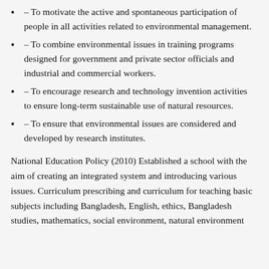– To motivate the active and spontaneous participation of people in all activities related to environmental management.
– To combine environmental issues in training programs designed for government and private sector officials and industrial and commercial workers.
– To encourage research and technology invention activities to ensure long-term sustainable use of natural resources.
– To ensure that environmental issues are considered and developed by research institutes.
National Education Policy (2010) Established a school with the aim of creating an integrated system and introducing various issues. Curriculum prescribing and curriculum for teaching basic subjects including Bangladesh, English, ethics, Bangladesh studies, mathematics, social environment, natural environment